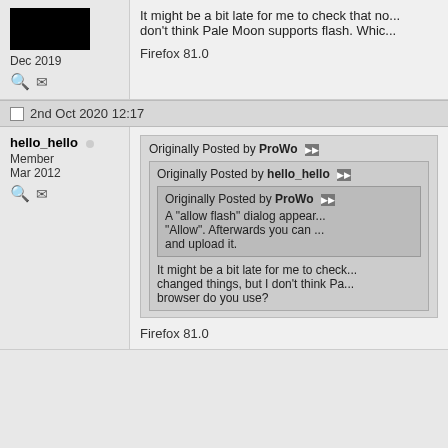It might be a bit late for me to check that now... I don't think Pale Moon supports flash. Whic...
Firefox 81.0
2nd Oct 2020 12:17
hello_hello
Member
Mar 2012
Originally Posted by ProWo
Originally Posted by hello_hello
Originally Posted by ProWo
A "allow flash" dialog appears... "Allow". Afterwards you can... and upload it.
It might be a bit late for me to check... changed things, but I don't think Pa... browser do you use?
Firefox 81.0